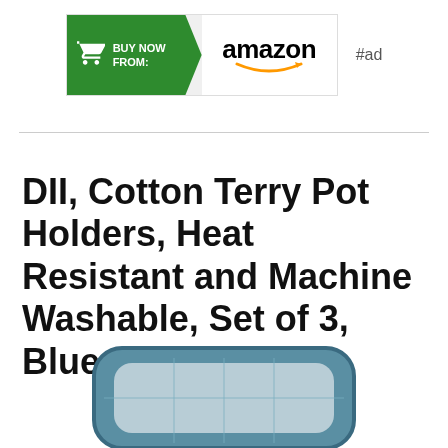[Figure (logo): Amazon 'Buy Now From' advertisement banner with green arrow section containing shopping cart icon and 'BUY NOW FROM:' text, followed by Amazon logo with smile, and '#ad' label]
DII, Cotton Terry Pot Holders, Heat Resistant and Machine Washable, Set of 3, Blue
[Figure (photo): Partial photo of a blue cotton terry pot holder, showing the top portion of the product against a white background]